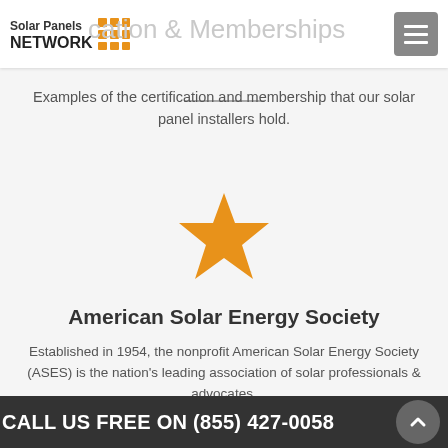Solar Panels NETWORK | Certification & Memberships
Examples of the certification and membership that our solar panel installers hold.
[Figure (illustration): Orange five-pointed star icon]
American Solar Energy Society
Established in 1954, the nonprofit American Solar Energy Society (ASES) is the nation's leading association of solar professionals & advocates.
CALL US FREE ON (855) 427-0058